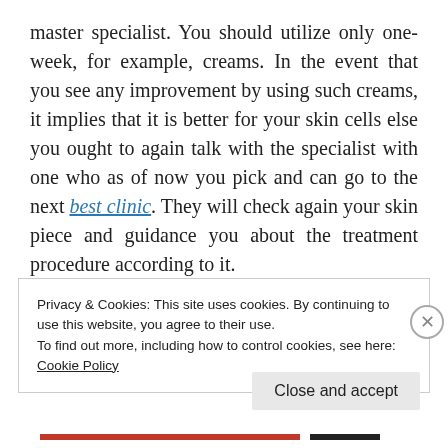master specialist. You should utilize only one-week, for example, creams. In the event that you see any improvement by using such creams, it implies that it is better for your skin cells else you ought to again talk with the specialist with one who as of now you pick and can go to the next best clinic. They will check again your skin piece and guidance you about the treatment procedure according to it.
Privacy & Cookies: This site uses cookies. By continuing to use this website, you agree to their use.
To find out more, including how to control cookies, see here:
Cookie Policy
Close and accept